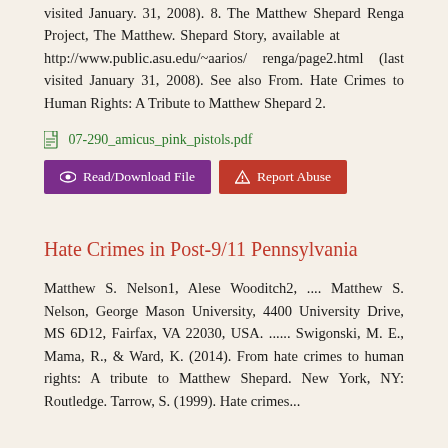visited January. 31, 2008). 8. The Matthew Shepard Renga Project, The Matthew. Shepard Story, available at http://www.public.asu.edu/~aarios/renga/page2.html (last visited January 31, 2008). See also From. Hate Crimes to Human Rights: A Tribute to Matthew Shepard 2.
07-290_amicus_pink_pistols.pdf
Read/Download File   Report Abuse
Hate Crimes in Post-9/11 Pennsylvania
Matthew S. Nelson1, Alese Wooditch2, .... Matthew S. Nelson, George Mason University, 4400 University Drive, MS 6D12, Fairfax, VA 22030, USA. ...... Swigonski, M. E., Mama, R., & Ward, K. (2014). From hate crimes to human rights: A tribute to Matthew Shepard. New York, NY: Routledge. Tarrow, S. (1999). Hate crimes...